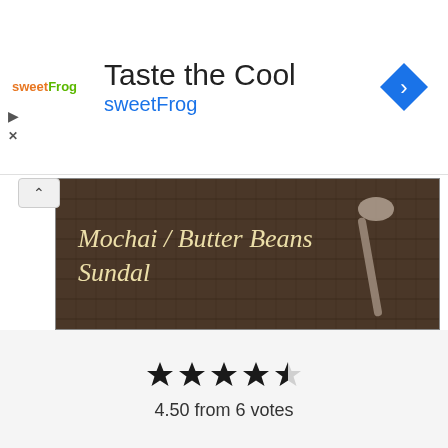[Figure (advertisement): sweetFrog ad banner with logo, text 'Taste the Cool', 'sweetFrog' tagline, and navigation arrow icon]
[Figure (photo): Photo of Mochai / Butter Beans Sundal - Indian spiced butter beans in a wooden bowl on a woven mat, with text overlay reading 'Mochai / Butter Beans Sundal']
4.50 from 6 votes